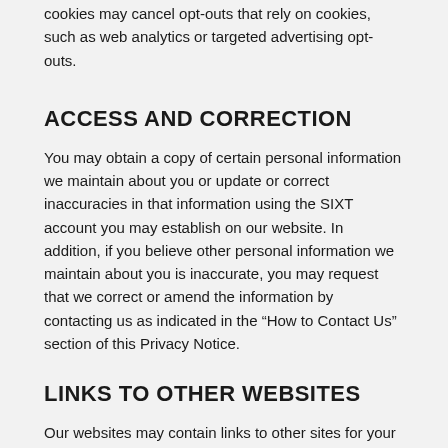cookies may cancel opt-outs that rely on cookies, such as web analytics or targeted advertising opt-outs.
ACCESS AND CORRECTION
You may obtain a copy of certain personal information we maintain about you or update or correct inaccuracies in that information using the SIXT account you may establish on our website. In addition, if you believe other personal information we maintain about you is inaccurate, you may request that we correct or amend the information by contacting us as indicated in the “How to Contact Us” section of this Privacy Notice.
LINKS TO OTHER WEBSITES
Our websites may contain links to other sites for your convenience and information. These sites may be operated by companies not affiliated with SIXT. Linked sites may have their own privacy notices, which you should review if you visit those websites. We are not responsible for the